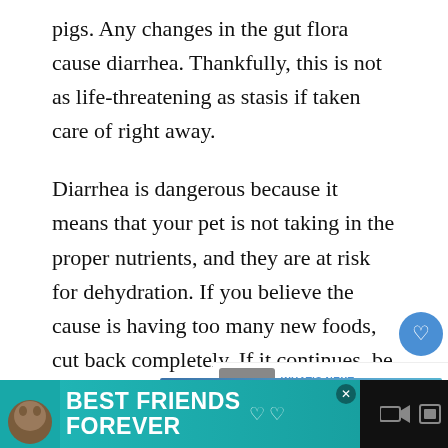pigs. Any changes in the gut flora cause diarrhea. Thankfully, this is not as life-threatening as stasis if taken care of right away.
Diarrhea is dangerous because it means that your pet is not taking in the proper nutrients, and they are at risk for dehydration. If you believe the cause is having too many new foods, cut back completely. If it continues, be sure to take your p to the vet.
[Figure (screenshot): UI overlay showing a blue heart/like button and share button on the right side, with count '1' below the heart button]
[Figure (screenshot): 'WHAT'S NEXT' panel in top-right with thumbnail images of guinea pigs and text 'Is My Guinea Pig Pregnan...']
[Figure (screenshot): Blue gradient advertisement banner with text 'FALL IN LOVE' and a heart outline icon on the left]
[Figure (screenshot): Black bottom bar with teal advertisement showing cat image and text 'BEST FRIENDS FOREVER' with hearts]